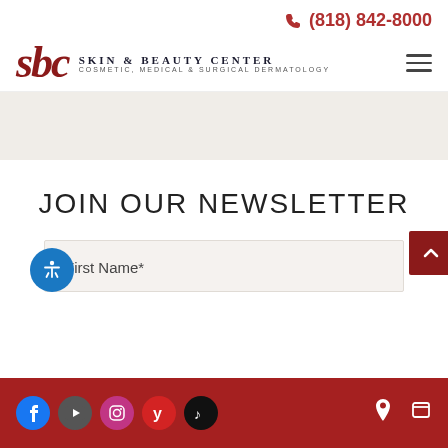(818) 842-8000
[Figure (logo): Skin & Beauty Center logo with cursive 'sbc' in dark red and text 'SKIN & BEAUTY CENTER / COSMETIC, MEDICAL & SURGICAL DERMATOLOGY']
[Figure (infographic): Light beige/tan hero banner strip]
JOIN OUR NEWSLETTER
First Name*
Social icons: Facebook, YouTube, Instagram, Yelp, TikTok; Location and mobile icons